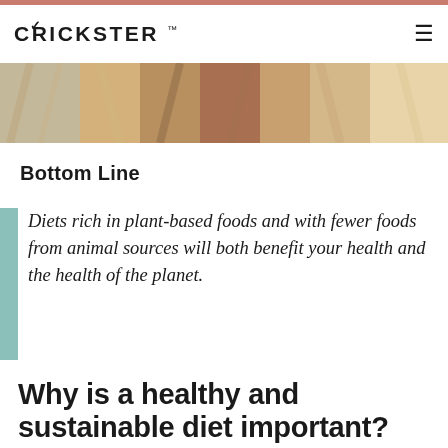CRICKSTER™
[Figure (photo): Close-up photo of animal fur/livestock, warm tones, browns and tans]
Bottom Line
Diets rich in plant-based foods and with fewer foods from animal sources will both benefit your health and the health of the planet.
Why is a healthy and sustainable diet important?